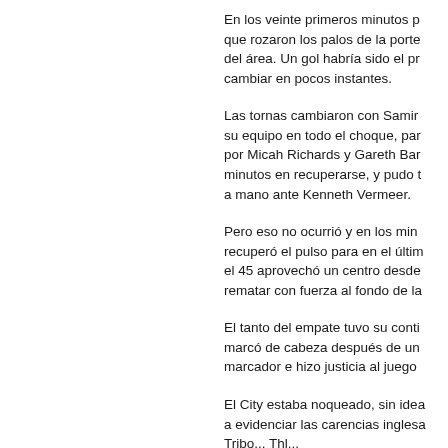En los veinte primeros minutos p... que rozaron los palos de la porte... del área. Un gol habría sido el pr... cambiar en pocos instantes.
Las tornas cambiaron con Samir... su equipo en todo el choque, par... por Micah Richards y Gareth Bar... minutos en recuperarse, y pudo t... a mano ante Kenneth Vermeer.
Pero eso no ocurrió y en los min... recuperó el pulso para en el últim... el 45 aprovechó un centro desde... rematar con fuerza al fondo de la...
El tanto del empate tuvo su conti... marcó de cabeza después de un... marcador e hizo justicia al juego...
El City estaba noqueado, sin idea... a evidenciar las carencias inglesa... Tribo... Thl...